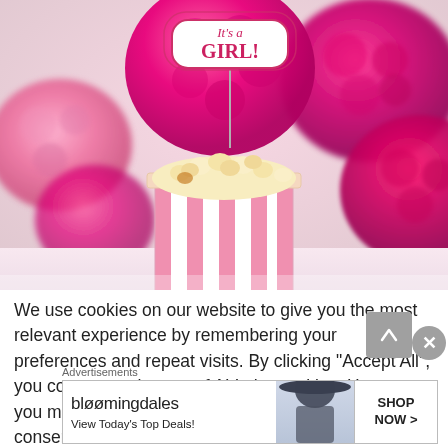[Figure (photo): Baby shower decoration photo: pink and hot-pink tissue paper pom-pom flowers in the background, a pink-and-white striped popcorn box filled with popcorn in the foreground, with a decorative sign on a stick reading 'It's a GIRL!']
We use cookies on our website to give you the most relevant experience by remembering your preferences and repeat visits. By clicking “Accept All”, you consent to the use of ALL the cookies. However, you may visit "Cookie Settings" to provide a controlled consent.
Advertisements
[Figure (other): Bloomingdale's advertisement banner: bloomingdales logo, woman in wide-brim hat, text 'View Today's Top Deals!', and 'SHOP NOW >' button]